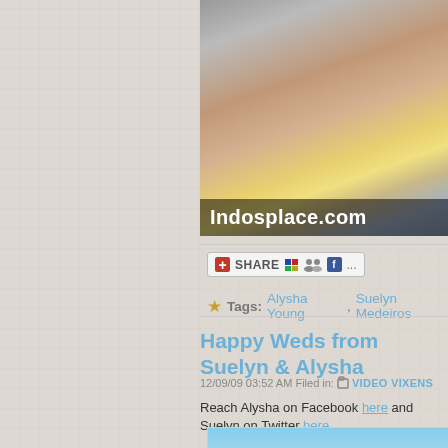[Figure (photo): Partial view of two women in bikinis (yellow and blue-striped), with Indosplace.com watermark text overlaid at the bottom]
[Figure (screenshot): Share button widget with plus icon, SHARE text, and social media icons including del.icio.us, digg, and Facebook]
Tags: Alysha Young, Suelyn Medeiros
[Figure (infographic): Blue arrow/badge icon with eye symbol pointing right, indicating a featured post]
Happy Weds from Suelyn & Alysha
12/09/09 03:52 AM Filed in: VIDEO VIXENS
Reach Alysha on Facebook here and Suelyn on Twitter here.
[Figure (photo): Beach scene photo showing blue sky, ocean water, and green foliage/rocks at bottom]